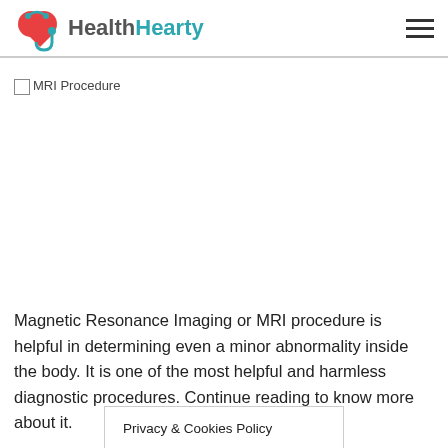HealthHearty
[Figure (photo): MRI Procedure image (broken/unloaded image placeholder with alt text 'MRI Procedure')]
Magnetic Resonance Imaging or MRI procedure is helpful in determining even a minor abnormality inside the body. It is one of the most helpful and harmless diagnostic procedures. Continue reading to know more about it.
Privacy & Cookies Policy